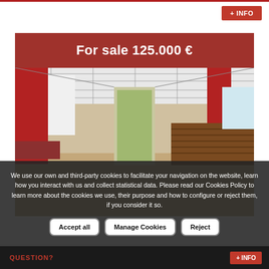+ INFO
[Figure (photo): Interior of a commercial space for sale showing red accent walls, a drop ceiling with recessed lighting, a long wooden bar counter on the right, bench seating on the left, and an open doorway at the far end leading to a street.]
For sale 125.000 €
We use our own and third-party cookies to facilitate your navigation on the website, learn how you interact with us and collect statistical data. Please read our Cookies Policy to learn more about the cookies we use, their purpose and how to configure or reject them, if you consider it so.
Accept all
Manage Cookies
Reject
QUESTION?
+ INFO